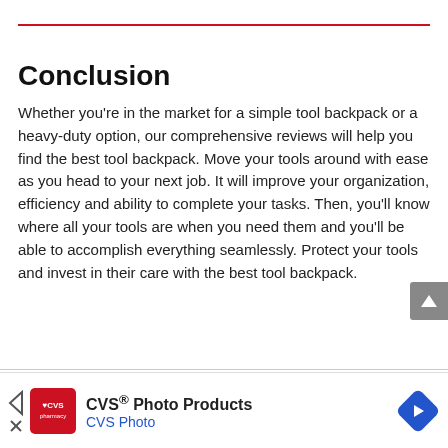Conclusion
Whether you're in the market for a simple tool backpack or a heavy-duty option, our comprehensive reviews will help you find the best tool backpack. Move your tools around with ease as you head to your next job. It will improve your organization, efficiency and ability to complete your tasks. Then, you'll know where all your tools are when you need them and you'll be able to accomplish everything seamlessly. Protect your tools and invest in their care with the best tool backpack.
[Figure (other): CVS Photo Products advertisement banner with CVS Pharmacy logo, text 'CVS® Photo Products / CVS Photo', a blue navigation arrow icon, and a blue diamond-shaped directional icon.]